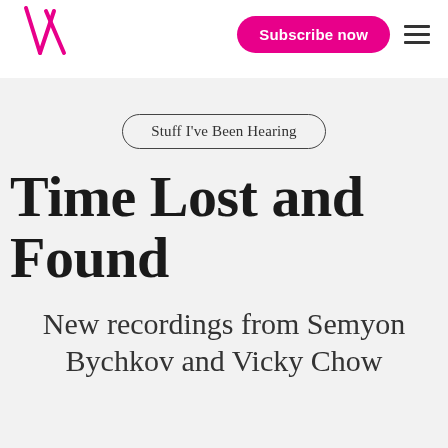VAN logo | Subscribe now | Menu
Stuff I've Been Hearing
Time Lost and Found
New recordings from Semyon Bychkov and Vicky Chow